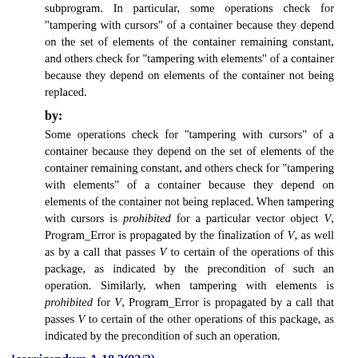subprogram. In particular, some operations check for "tampering with cursors" of a container because they depend on the set of elements of the container remaining constant, and others check for "tampering with elements" of a container because they depend on elements of the container not being replaced.
by:
Some operations check for "tampering with cursors" of a container because they depend on the set of elements of the container remaining constant, and others check for "tampering with elements" of a container because they depend on elements of the container not being replaced. When tampering with cursors is prohibited for a particular vector object V, Program_Error is propagated by the finalization of V, as well as by a call that passes V to certain of the operations of this package, as indicated by the precondition of such an operation. Similarly, when tampering with elements is prohibited for V, Program_Error is propagated by a call that passes V to certain of the other operations of this package, as indicated by the precondition of such an operation.
!corrigendum A.18.2(92/2)
Delete the paragraph:
it inserts or deletes elements of V, that is, it calls the Insert, Insert_Space, Clear, Delete, or Set_Length